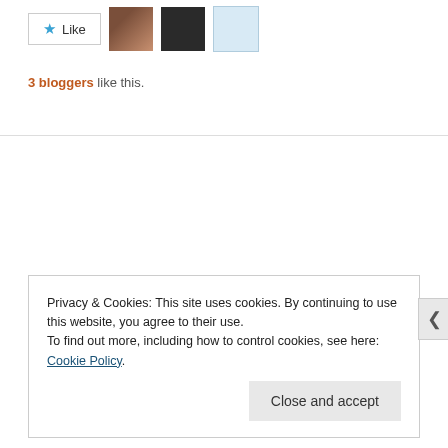[Figure (other): Like button with star icon and three blogger avatar thumbnails]
3 bloggers like this.
OLDER POSTS button
Privacy & Cookies: This site uses cookies. By continuing to use this website, you agree to their use. To find out more, including how to control cookies, see here: Cookie Policy
Close and accept